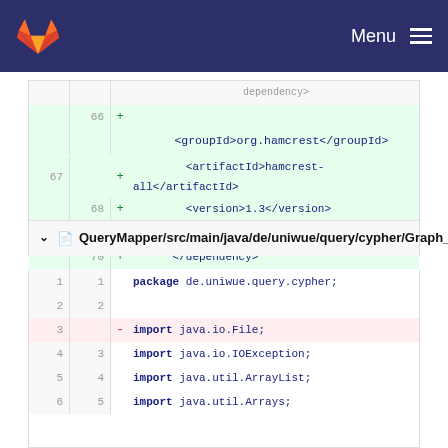Menu
[Figure (screenshot): GitLab diff view showing XML pom.xml lines 65-72 with additions (green) and neutral lines, ending with no newline warning]
QueryMapper/src/main/java/de/uniwue/query/cypher/Graph_2_Cypher_Mapper.java
[Figure (screenshot): GitLab diff view showing Java source file Graph_2_Cypher_Mapper.java lines 1-6, with line 3 deleted (import java.io.File;) and remaining imports]